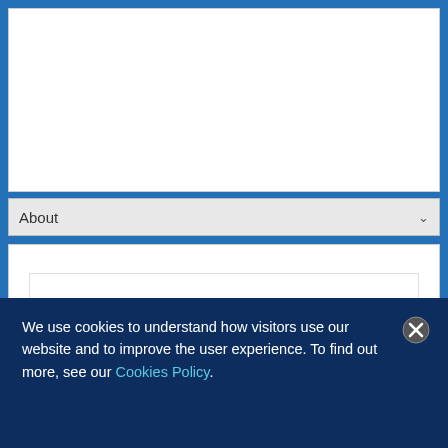[Figure (screenshot): White rectangular area representing a webpage header/navigation region with blue background surround]
About ∨
About
We use cookies to understand how visitors use our website and to improve the user experience. To find out more, see our Cookies Policy.